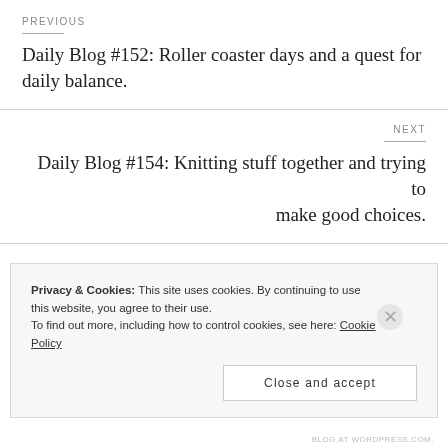PREVIOUS
Daily Blog #152: Roller coaster days and a quest for daily balance.
NEXT
Daily Blog #154: Knitting stuff together and trying to make good choices.
One thought on “Daily Blog #153: Rough day and reflections on self
Privacy & Cookies: This site uses cookies. By continuing to use this website, you agree to their use.
To find out more, including how to control cookies, see here: Cookie Policy
Close and accept